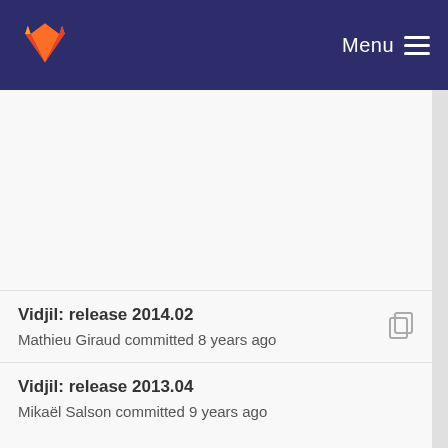GitLab — Menu
Vidjil: release 2014.02
Mathieu Giraud committed 8 years ago
Vidjil: release 2013.04
Mikaël Salson committed 9 years ago
cidjil.cpp/export.js : export vidjil soft version
Marc Duez committed 7 years ago